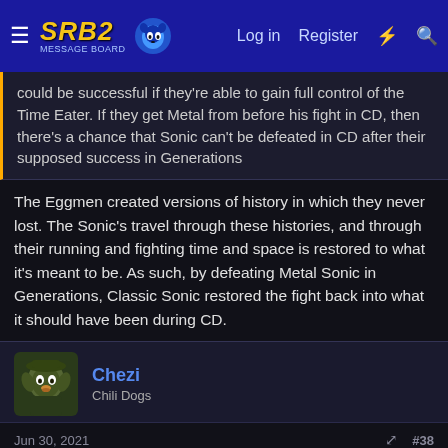SRB2 Message Board — Log in | Register
could be successful if they're able to gain full control of the Time Eater. If they get Metal from before his fight in CD, then there's a chance that Sonic can't be defeated in CD after their supposed success in Generations
The Eggmen created versions of history in which they never lost. The Sonic's travel through these histories, and through their running and fighting time and space is restored to what it's meant to be. As such, by defeating Metal Sonic in Generations, Classic Sonic restored the fight back into what it should have been during CD.
Chezi
Chili Dogs
Jun 30, 2021   #38
Okay, I'm just kinda done with this conversation. The way the Eggman's try to undo their previous defeats is by pulling a significant event out of the timeline. By pulling Green Hill out